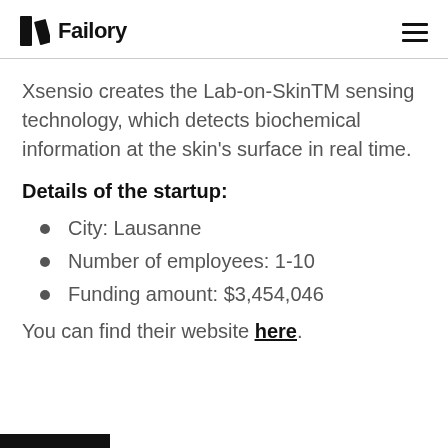Failory
Xsensio creates the Lab-on-SkinTM sensing technology, which detects biochemical information at the skin's surface in real time.
Details of the startup:
City: Lausanne
Number of employees: 1-10
Funding amount: $3,454,046
You can find their website here.